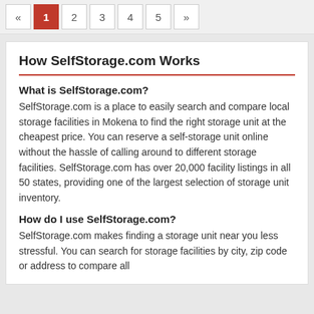« 1 2 3 4 5 »
How SelfStorage.com Works
What is SelfStorage.com?
SelfStorage.com is a place to easily search and compare local storage facilities in Mokena to find the right storage unit at the cheapest price. You can reserve a self-storage unit online without the hassle of calling around to different storage facilities. SelfStorage.com has over 20,000 facility listings in all 50 states, providing one of the largest selection of storage unit inventory.
How do I use SelfStorage.com?
SelfStorage.com makes finding a storage unit near you less stressful. You can search for storage facilities by city, zip code or address to compare all